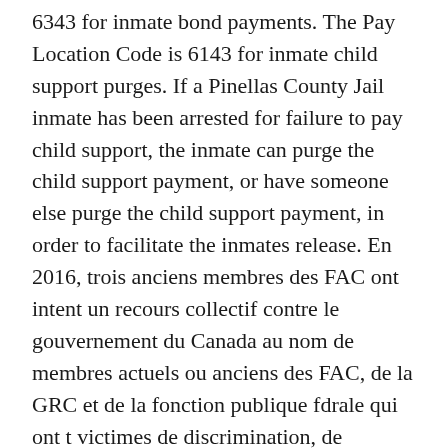6343 for inmate bond payments. The Pay Location Code is 6143 for inmate child support purges. If a Pinellas County Jail inmate has been arrested for failure to pay child support, the inmate can purge the child support payment, or have someone else purge the child support payment, in order to facilitate the inmates release. En 2016, trois anciens membres des FAC ont intent un recours collectif contre le gouvernement du Canada au nom de membres actuels ou anciens des FAC, de la GRC et de la fonction publique fdrale qui ont t victimes de discrimination, de harclement ou de perte demploi en vertu de diverses politiques selon lesquelles ils/elles ont t considr(e)s inaptes au service ou lemploi en raison de leur orientation sexuelle, de leur identit de genre ou de leur expression de genre agreement. A fixed-term tenancy is an agreement that covers a specific amount of time. It is generally (but not always) set down in a written contract, called a lease. It may be for any period, but can